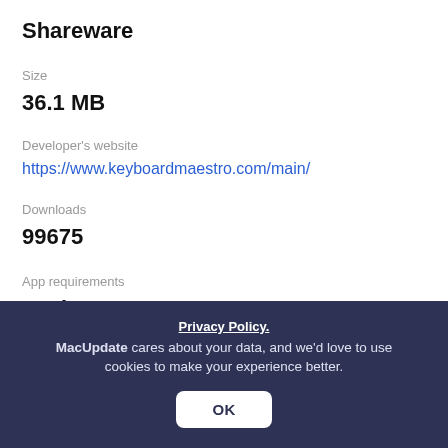Shareware
Size
36.1 MB
Developer's website
https://www.keyboardmaestro.com/main/
Downloads
99675
App requirements
Intel 64
Apple Silicon
macOS 10.13.0 or later
Privacy Policy. MacUpdate cares about your data, and we'd love to use cookies to make your experience better. OK